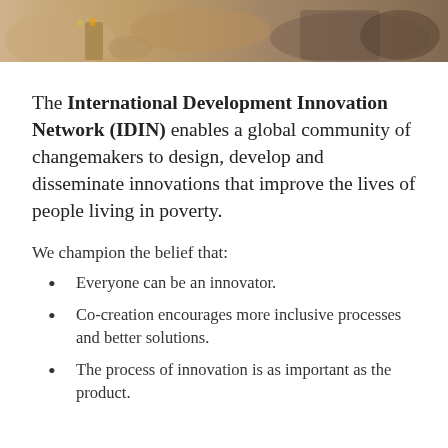[Figure (photo): Photo of people working on crafts or tools on a sandy/earthen surface, partially cropped at the top of the page]
The International Development Innovation Network (IDIN) enables a global community of changemakers to design, develop and disseminate innovations that improve the lives of people living in poverty.
We champion the belief that:
Everyone can be an innovator.
Co-creation encourages more inclusive processes and better solutions.
The process of innovation is as important as the product.